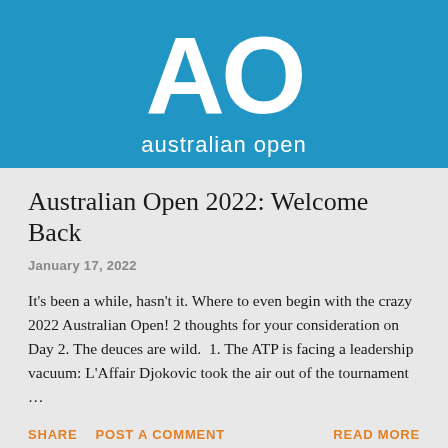[Figure (logo): Australian Open logo: large white 'AO' letters on a blue background with 'australian open' text below]
Australian Open 2022: Welcome Back
January 17, 2022
It's been a while, hasn't it. Where to even begin with the crazy 2022 Australian Open! 2 thoughts for your consideration on Day 2. The deuces are wild.  1. The ATP is facing a leadership vacuum: L'Affair Djokovic took the air out of the tournament …
SHARE   POST A COMMENT   READ MORE